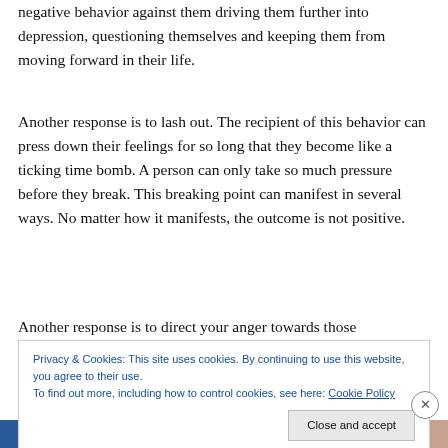negative behavior against them driving them further into depression, questioning themselves and keeping them from moving forward in their life.
Another response is to lash out. The recipient of this behavior can press down their feelings for so long that they become like a ticking time bomb. A person can only take so much pressure before they break. This breaking point can manifest in several ways. No matter how it manifests, the outcome is not positive.
Another response is to direct your anger towards those
Privacy & Cookies: This site uses cookies. By continuing to use this website, you agree to their use.
To find out more, including how to control cookies, see here: Cookie Policy